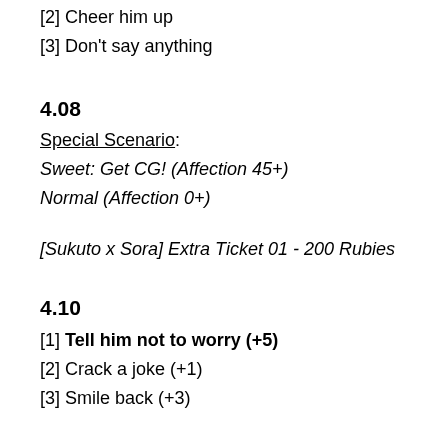[2] Cheer him up
[3] Don't say anything
4.08
Special Scenario:
Sweet: Get CG! (Affection 45+)
Normal (Affection 0+)
[Sukuto x Sora] Extra Ticket 01 - 200 Rubies
4.10
[1] Tell him not to worry (+5)
[2] Crack a joke (+1)
[3] Smile back (+3)
[Episode 5]